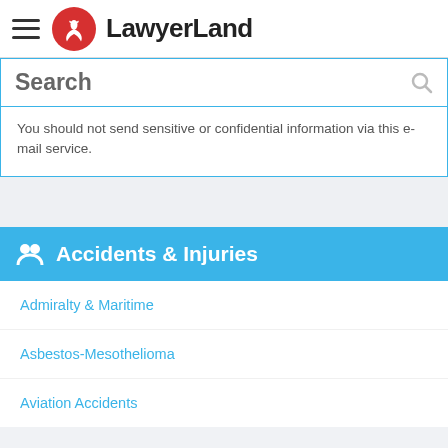LawyerLand
Search
You should not send sensitive or confidential information via this e-mail service.
Accidents & Injuries
Admiralty & Maritime
Asbestos-Mesothelioma
Aviation Accidents